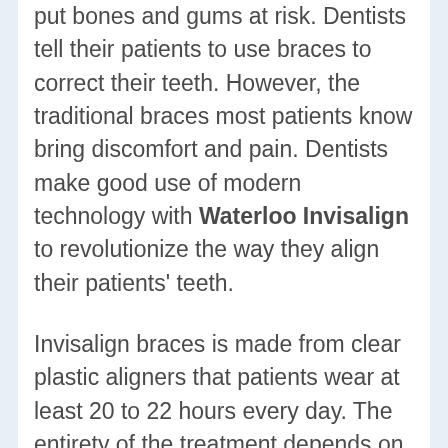put bones and gums at risk. Dentists tell their patients to use braces to correct their teeth. However, the traditional braces most patients know bring discomfort and pain. Dentists make good use of modern technology with Waterloo Invisalign to revolutionize the way they align their patients' teeth.
Invisalign braces is made from clear plastic aligners that patients wear at least 20 to 22 hours every day. The entirety of the treatment depends on how much the patient needs it. A Waterloo dentist commonly recommends at least 1.5 years or using Invisalign. This varies depending on how severe the case of the patient.
Benefits of wearing Waterloo Invisalign
Improves tooth appearance